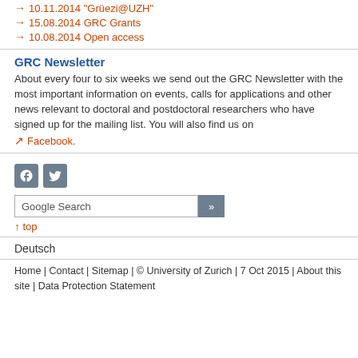→ 10.11.2014 "Grüezi@UZH"
→ 15.08.2014 GRC Grants
→ 10.08.2014 Open access
GRC Newsletter
About every four to six weeks we send out the GRC Newsletter with the most important information on events, calls for applications and other news relevant to doctoral and postdoctoral researchers who have signed up for the mailing list. You will also find us on
↗ Facebook.
[Figure (logo): Facebook and Twitter social media icons]
Google Search [search button >>]
↑ top
Deutsch
Home | Contact | Sitemap | © University of Zurich | 7 Oct 2015 | About this site | Data Protection Statement